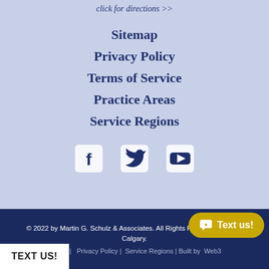click for directions >>
Sitemap
Privacy Policy
Terms of Service
Practice Areas
Service Regions
[Figure (other): Social media icons: Facebook, Twitter, YouTube]
© 2022 by Martin G. Schulz & Associates. All Rights Reserved - Edmonton, Calgary. Sitemap | Privacy Policy | Service Regions | Built by Webs
TEXT US!
Text us!